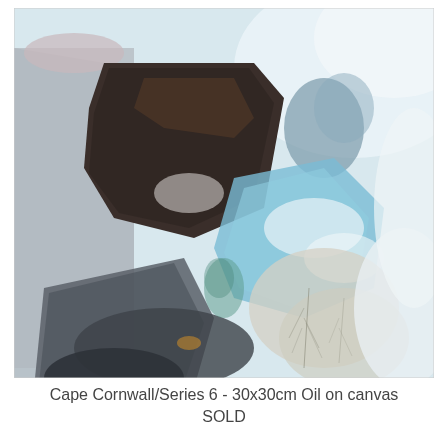[Figure (illustration): Abstract oil painting titled Cape Cornwall/Series 6. The painting shows abstract coastal landscape forms in muted grey, dark brown/black, blue, and white tones. Large blocky abstract shapes suggest cliffs or landmasses on the left side, with soft blue and white passages on the right suggesting sea and sky. Textured brushwork with visible impasto technique.]
Cape Cornwall/Series 6 - 30x30cm Oil on canvas SOLD